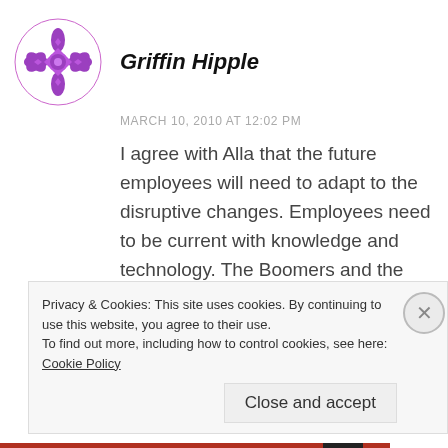Griffin Hipple
MARCH 10, 2010 AT 12:02 PM
I agree with Alla that the future employees will need to adapt to the disruptive changes. Employees need to be current with knowledge and technology. The Boomers and the generations before them were able to go to college and maybe get a masters or doctrine and were able to use their stale skills up to
Privacy & Cookies: This site uses cookies. By continuing to use this website, you agree to their use.
To find out more, including how to control cookies, see here: Cookie Policy
Close and accept